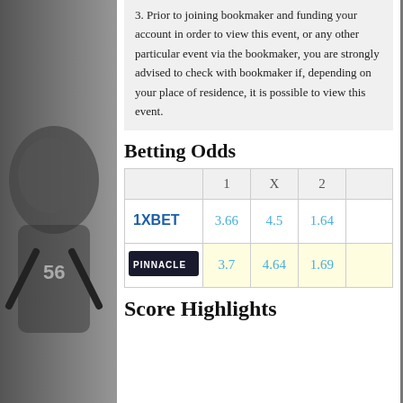3. Prior to joining bookmaker and funding your account in order to view this event, or any other particular event via the bookmaker, you are strongly advised to check with bookmaker if, depending on your place of residence, it is possible to view this event.
Betting Odds
|  | 1 | X | 2 |  |
| --- | --- | --- | --- | --- |
| 1XBET | 3.66 | 4.5 | 1.64 |  |
| PINNACLE | 3.7 | 4.64 | 1.69 |  |
Score Highlights